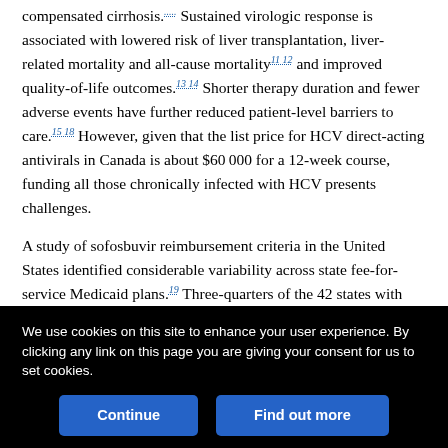compensated cirrhosis.[refs] Sustained virologic response is associated with lowered risk of liver transplantation, liver-related mortality and all-cause mortality[11 12] and improved quality-of-life outcomes.[13 14] Shorter therapy duration and fewer adverse events have further reduced patient-level barriers to care.[15 18] However, given that the list price for HCV direct-acting antivirals in Canada is about $60 000 for a 12-week course, funding all those chronically infected with HCV presents challenges.
A study of sofosbuvir reimbursement criteria in the United States identified considerable variability across state fee-for-service Medicaid plans.[19] Three-quarters of the 42 states with data requested evidence of advanced fibrosis (Meta-Analysis of Histologic Data in Viral Hepatitis score ≥ 50, equivalent to stage F4). Furth...
We use cookies on this site to enhance your user experience. By clicking any link on this page you are giving your consent for us to set cookies.